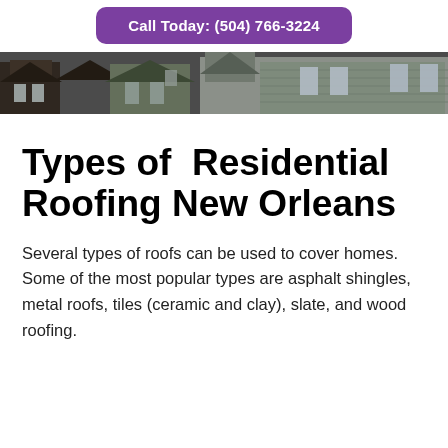Call Today: (504) 766-3224
[Figure (photo): Exterior photo of residential homes with rooflines visible, showing siding and windows, dark background tone.]
Types of  Residential Roofing New Orleans
Several types of roofs can be used to cover homes.  Some of the most popular types are asphalt shingles, metal roofs, tiles (ceramic and clay), slate, and wood roofing.